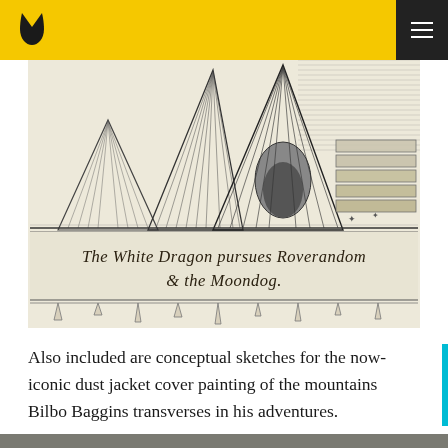[Figure (illustration): Pen-and-ink illustration by Tolkien showing mountain peaks with detailed line hatching, a cave or tunnel opening, and decorative elements. A calligraphic caption reads: 'The White Dragon pursues Roverandom & the Moondog.']
Also included are conceptual sketches for the now-iconic dust jacket cover painting of the mountains Bilbo Baggins transverses in his adventures.
[Figure (photo): Partial view of another image at the bottom of the page, appears dark/grey.]